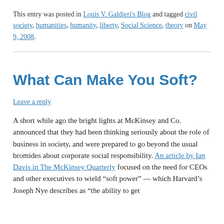This entry was posted in Louis V. Galdieri's Blog and tagged civil society, humanities, humanity, liberty, Social Science, theory on May 9, 2008.
What Can Make You Soft?
Leave a reply
A short while ago the bright lights at McKinsey and Co. announced that they had been thinking seriously about the role of business in society, and were prepared to go beyond the usual bromides about corporate social responsibility. An article by Ian Davis in The McKinsey Quarterly focused on the need for CEOs and other executives to wield "soft power" — which Harvard's Joseph Nye describes as "the ability to get